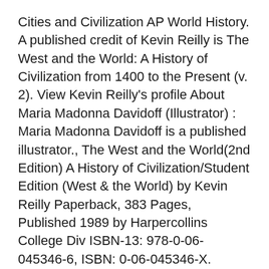Cities and Civilization AP World History. A published credit of Kevin Reilly is The West and the World: A History of Civilization from 1400 to the Present (v. 2). View Kevin Reilly's profile About Maria Madonna Davidoff (Illustrator) : Maria Madonna Davidoff is a published illustrator., The West and the World(2nd Edition) A History of Civilization/Student Edition (West & the World) by Kevin Reilly Paperback, 383 Pages, Published 1989 by Harpercollins College Div ISBN-13: 978-0-06-045346-6, ISBN: 0-06-045346-X.
The West and the World engages students and provokes discussion by presenting the past through the prism of current and perennial issues,ette through current and perennial